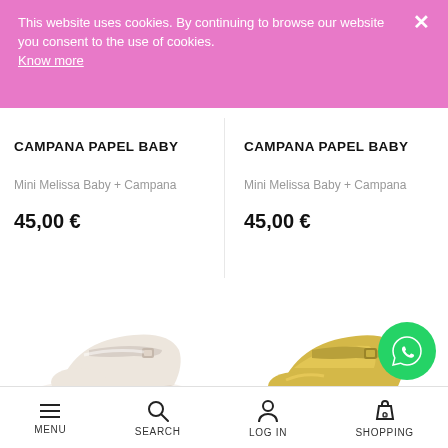This website uses cookies. By continuing to browse our website you consent to the use of cookies. Know more
CAMPANA PAPEL BABY
Mini Melissa Baby + Campana
45,00 €
CAMPANA PAPEL BABY
Mini Melissa Baby + Campana
45,00 €
[Figure (photo): White/beige baby Mary Jane shoes with buckle strap]
[Figure (photo): Gold/champagne baby Mary Jane shoes with buckle strap]
MENU  SEARCH  LOGIN  SHOPPING